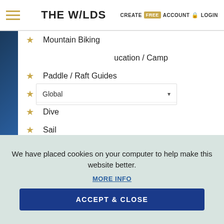THE W/LDS | CREATE FREE ACCOUNT LOGIN
Mountain Biking
Education / Camp
Paddle / Raft Guides
Wilderness Admin & Management
Dive
Sail
Snorkel
Stand Up Paddle
Waterski / Wakeboard
We have placed cookies on your computer to help make this website better.
MORE INFO
ACCEPT & CLOSE